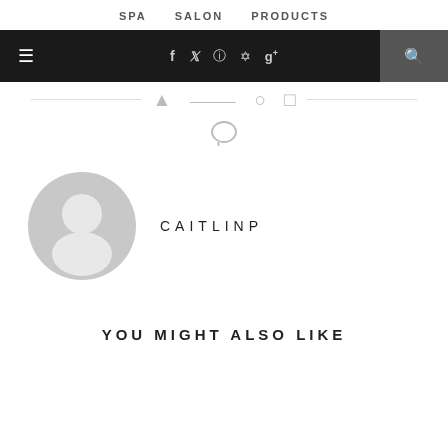SPA   SALON   PRODUCTS
[Figure (screenshot): Navigation bar with hamburger menu, social icons (f, twitter, instagram, pinterest, g+), and search icon on dark background]
[Figure (illustration): Social share icons row with horizontal lines dividers and a comment/speech bubble icon below]
[Figure (illustration): Default grey user avatar placeholder icon]
CAITLINP
YOU MIGHT ALSO LIKE